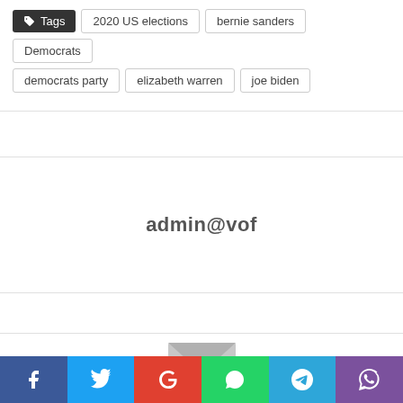Tags: 2020 US elections, bernie sanders, Democrats, democrats party, elizabeth warren, joe biden
admin@vof
[Figure (illustration): Envelope icon (mail symbol) in light gray]
Social share bar: Facebook, Twitter, Google, WhatsApp, Telegram, Viber